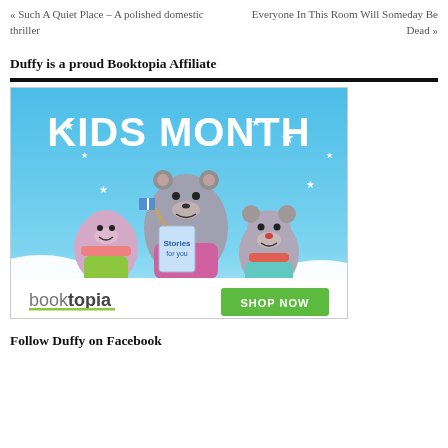« Such A Quiet Place – A polished domestic thriller
Everyone In This Room Will Someday Be Dead »
Duffy is a proud Booktopia Affiliate
[Figure (illustration): Booktopia Kids Month advertisement banner featuring cartoon animal characters (bears and a pig) reading books under a blue sky with white stars. Green 'SHOP NOW' button and booktopia logo at the bottom.]
Follow Duffy on Facebook